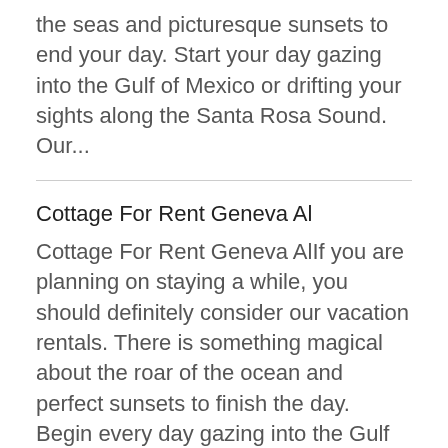the seas and picturesque sunsets to end your day. Start your day gazing into the Gulf of Mexico or drifting your sights along the Santa Rosa Sound. Our...
Cottage For Rent Geneva Al
Cottage For Rent Geneva AlIf you are planning on staying a while, you should definitely consider our vacation rentals. There is something magical about the roar of the ocean and perfect sunsets to finish the day. Begin every day gazing into the Gulf of Mexico or drifting your sights along the Santa Rosa Sound. Our Amazing Properties Our...
Cottage For Rent Gonzalez Fl